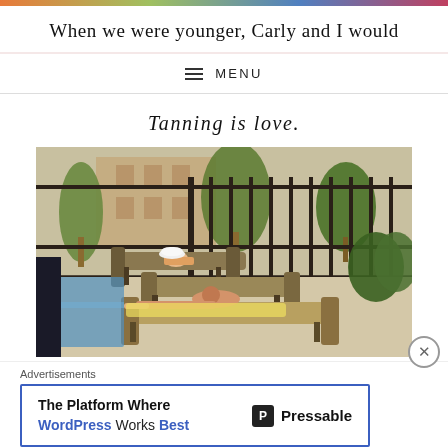When we were younger, Carly and I would
MENU
Tanning is love.
[Figure (photo): Two people lounging on chaise chairs by a pool area with iron fence and palm trees in the background, tanning outdoors]
Advertisements
The Platform Where WordPress Works Best  Pressable